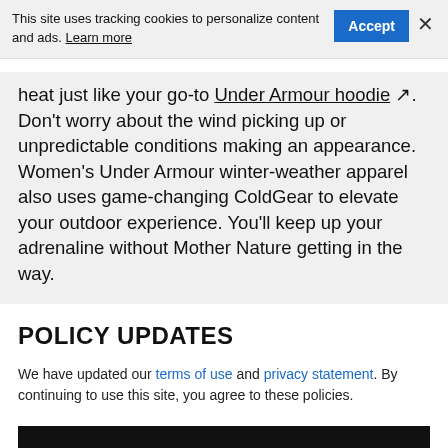This site uses tracking cookies to personalize content and ads. Learn more
heat just like your go-to Under Armour hoodie. Don't worry about the wind picking up or unpredictable conditions making an appearance. Women's Under Armour winter-weather apparel also uses game-changing ColdGear to elevate your outdoor experience. You'll keep up your adrenaline without Mother Nature getting in the way.
POLICY UPDATES
We have updated our terms of use and privacy statement. By continuing to use this site, you agree to these policies.
I AGREE